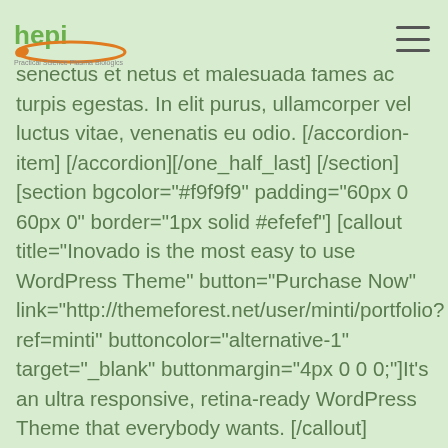hepi logo and navigation
arcu, ornare ut tincidunt eu, mattis a libero. Pellentesque habitant morbi tristique senectus et netus et malesuada fames ac turpis egestas. In elit purus, ullamcorper vel luctus vitae, venenatis eu odio. [/accordion-item] [/accordion][/one_half_last] [/section] [section bgcolor="#f9f9f9" padding="60px 0 60px 0" border="1px solid #efefef"] [callout title="Inovado is the most easy to use WordPress Theme" button="Purchase Now" link="http://themeforest.net/user/minti/portfolio?ref=minti" buttoncolor="alternative-1" target="_blank" buttonmargin="4px 0 0 0;"]It's an ultra responsive, retina-ready WordPress Theme that everybody wants. [/callout] [/section] [section bgcolor="#ffffff" padding="40px 0 40px 0"] [one_half] [separator headline="h3" title="Contact Informations"] [map w="600" h="400" style="full" z="16" marker="yes" infowindow="100 Mainstreet Blvd. (South) 44th Floor,